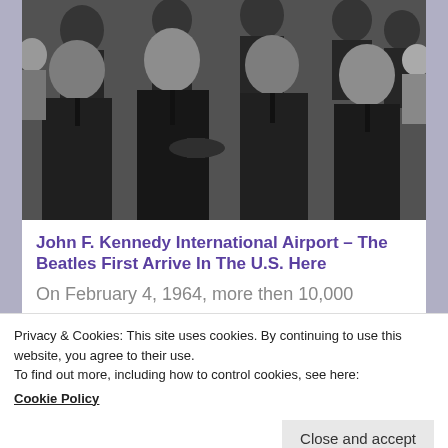[Figure (photo): Black and white photo of The Beatles arriving in the US, multiple young men in dark coats, one holding a hat, waving to a crowd]
John F. Kennedy International Airport – The Beatles First Arrive In The U.S. Here
On February 4, 1964, more then 10,000
Privacy & Cookies: This site uses cookies. By continuing to use this website, you agree to their use.
To find out more, including how to control cookies, see here:
Cookie Policy
Close and accept